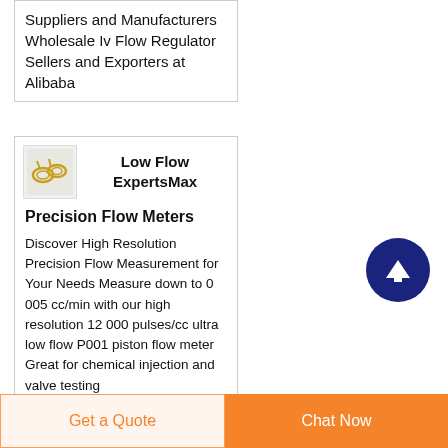Suppliers and Manufacturers Wholesale Iv Flow Regulator Sellers and Exporters at Alibaba
[Figure (photo): Small product thumbnail showing jewelry or metallic items]
Low Flow ExpertsMax
Precision Flow Meters
Discover High Resolution Precision Flow Measurement for Your Needs Measure down to 0 005 cc/min with our high resolution 12 000 pulses/cc ultra low flow P001 piston flow meter Great for chemical injection and valve testing
Get a Quote
Chat Now